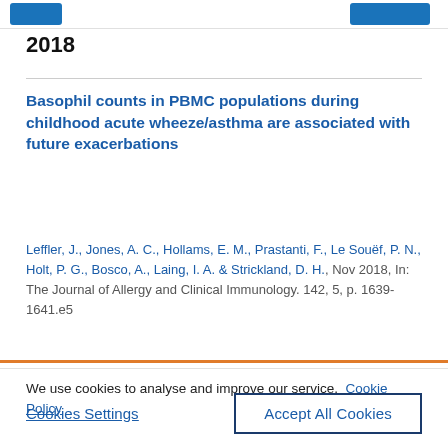2018
Basophil counts in PBMC populations during childhood acute wheeze/asthma are associated with future exacerbations
Leffler, J., Jones, A. C., Hollams, E. M., Prastanti, F., Le Souëf, P. N., Holt, P. G., Bosco, A., Laing, I. A. & Strickland, D. H., Nov 2018, In: The Journal of Allergy and Clinical Immunology. 142, 5, p. 1639-1641.e5
We use cookies to analyse and improve our service. Cookie Policy
Cookies Settings
Accept All Cookies